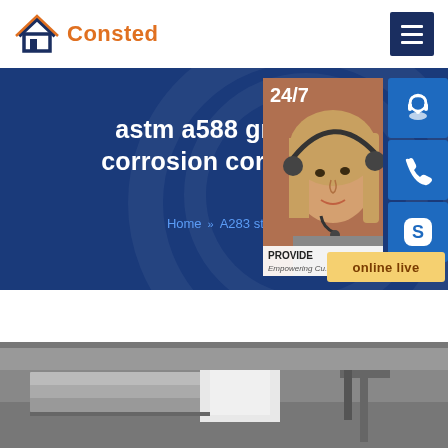[Figure (logo): Consted logo with house icon in navy blue and orange text]
[Figure (infographic): Hero banner with dark blue background showing text: astm a588 gr a we... corrosion corten ste... with breadcrumb Home >> A283 steel, overlaid with customer service sidebar showing 24/7 label, headset icon, phone icon, Skype icon, and online live button, and a photo of a woman with headset]
[Figure (photo): Black and white photo of steel plates and industrial equipment at the bottom of the page]